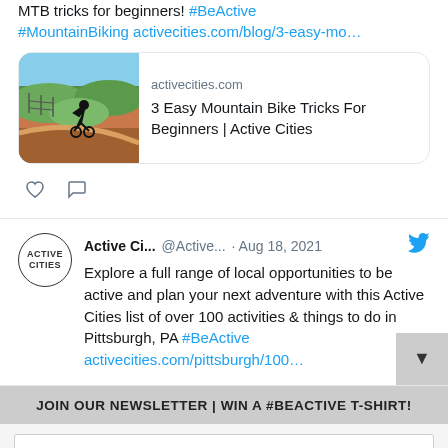MTB tricks for beginners! #BeActive #MountainBiking activecities.com/blog/3-easy-mo…
[Figure (screenshot): Link preview card showing activecities.com with a mountain biking photo and title '3 Easy Mountain Bike Tricks For Beginners | Active Cities']
[Figure (screenshot): Tweet from Active Ci... @Active... · Aug 18, 2021 with Twitter bird icon. Avatar shows 'ACTIVE CITIES' circle logo. Text: Explore a full range of local opportunities to be active and plan your next adventure with this Active Cities list of over 100 activities & things to do in Pittsburgh, PA #BeActive activecities.com/pittsburgh/100…]
JOIN OUR NEWSLETTER | WIN A #BEACTIVE T-SHIRT!
Your email address..
SUBSCRIBE